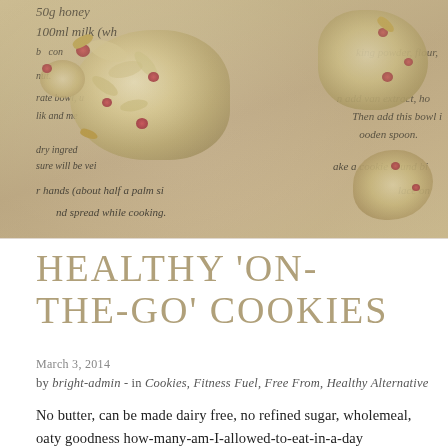[Figure (photo): Oat and berry cookies placed on a piece of paper with handwritten recipe instructions visible in the background. The cookies are chunky oat clusters with red berries and nut pieces. The paper shows partial handwritten text including ingredients and instructions like 'add van extract', 'Then add this bowl', 'wooden spoon', 'make a cookie round', 'hands (about half a palm si', 'spread while cooking'.]
HEALTHY ‘ON-THE-GO’ COOKIES
March 3, 2014
by bright-admin - in Cookies, Fitness Fuel, Free From, Healthy Alternative
No butter, can be made dairy free, no refined sugar, wholemeal, oaty goodness how-many-am-I-allowed-to-eat-in-a-day cookies. Or I’ve shortened it to ‘on the go’ cookies. Do you ever get that sinking Sunday evening feeling? You know Monday is going to be